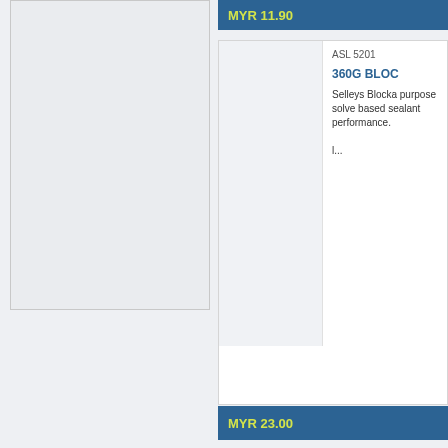MYR 11.90
ASL 5201
360G BLOC
Selleys Blocka purpose solve based sealant performance. l...
MYR 23.00
HCT 0501
W0178 WY TOOL SET
1) Professio computer, el and daily ele 2) a) Digital l
Orig. Price: MYR 164.71
MYR 139.00
HCT 1211
W0499B W SCREWIVE
1) CR-V6150